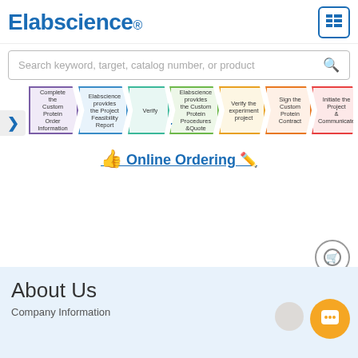[Figure (logo): Elabscience registered trademark logo in blue bold text with grid/list icon in top right corner]
[Figure (screenshot): Search bar with placeholder text: Search keyword, target, catalog number, or product]
[Figure (flowchart): 7-step process flow with chevron arrows: 1) Complete the Custom Protein Order Information, 2) Elabscience provides the Project Feasibility Report, 3) Verify, 4) Elabscience provides the Custom Protein Procedures & Quote, 5) Verify the experiment project, 6) Sign the Custom Protein Contract, 7) Initiate the Project & Communicate]
Online Ordering
About Us
Company Information